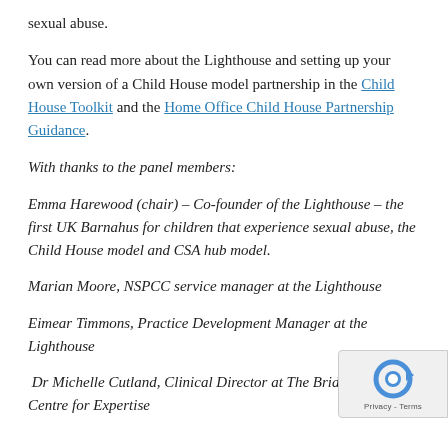sexual abuse.
You can read more about the Lighthouse and setting up your own version of a Child House model partnership in the Child House Toolkit and the Home Office Child House Partnership Guidance.
With thanks to the panel members:
Emma Harewood (chair) – Co-founder of the Lighthouse – the first UK Barnahus for children that experience sexual abuse, the Child House model and CSA hub model.
Marian Moore, NSPCC service manager at the Lighthouse
Eimear Timmons, Practice Development Manager at the Lighthouse
Dr Michelle Cutland, Clinical Director at The Bridge and CSA Centre for Expertise